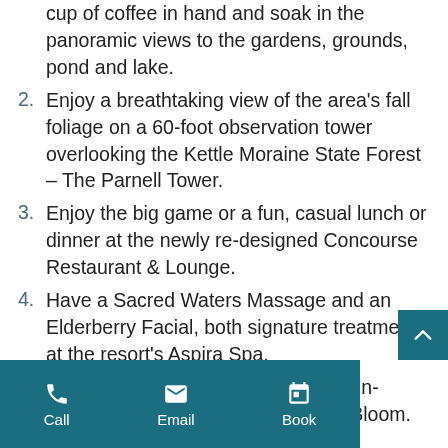cup of coffee in hand and soak in the panoramic views to the gardens, grounds, pond and lake.
2. Enjoy a breathtaking view of the area’s fall foliage on a 60-foot observation tower overlooking the Kettle Moraine State Forest – The Parnell Tower.
3. Enjoy the big game or a fun, casual lunch or dinner at the newly re-designed Concourse Restaurant & Lounge.
4. Have a Sacred Waters Massage and an Elderberry Facial, both signature treatments at the resort’s Aspira Spa.
5. Order flowers to your suite from the in-house floral department, Osthoff in Bloom.
Call  Email  Book